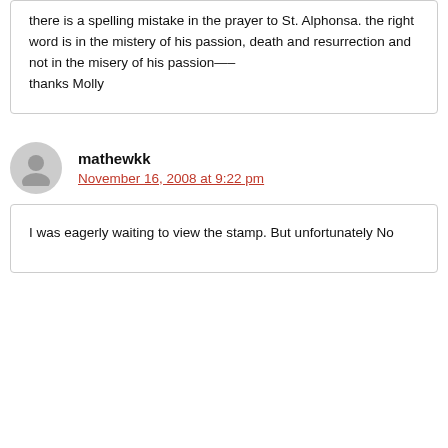there is a spelling mistake in the prayer to St. Alphonsa. the right word is in the mistery of his passion, death and resurrection and not in the misery of his passion—- thanks Molly
mathewkk
November 16, 2008 at 9:22 pm
I was eagerly waiting to view the stamp. But unfortunately No